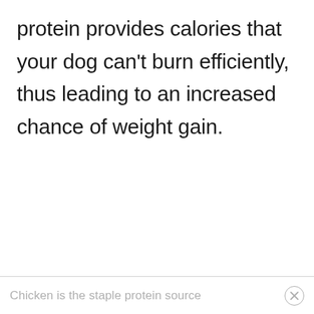protein provides calories that your dog can’t burn efficiently, thus leading to an increased chance of weight gain.
Chicken is the staple protein source